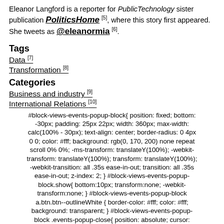Eleanor Langford is a reporter for PublicTechnology sister publication PoliticsHome [5], where this story first appeared. She tweets as @eleanormia [6].
Tags
Data [7]
Transformation [8]
Categories
Business and industry [9]
International Relations [10]
#block-views-events-popup-block{ position: fixed; bottom: -30px; padding: 25px 22px; width: 360px; max-width: calc(100% - 30px); text-align: center; border-radius: 0 4px 0 0; color: #fff; background: rgb(0, 170, 200) none repeat scroll 0% 0%; -ms-transform: translateY(100%); -webkit-transform: translateY(100%); transform: translateY(100%); -webkit-transition: all .35s ease-in-out; transition: all .35s ease-in-out; z-index: 2; } #block-views-events-popup-block.show{ bottom:10px; transform:none; -webkit-transform:none; } #block-views-events-popup-block a.btn.btn--outlineWhite { border-color: #fff; color: #fff; background: transparent; } #block-views-events-popup-block .events-popup-close{ position: absolute; cursor: pointer; top: -30px; left: 0; height: 32px; padding: 7px 20px; border-radius: 4px 4px 0 0; color: #fff; background: rgb(0, 170, 200)